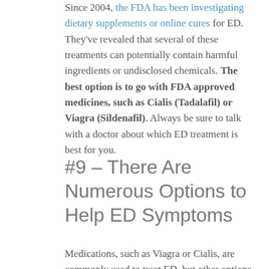Since 2004, the FDA has been investigating dietary supplements or online cures for ED. They've revealed that several of these treatments can potentially contain harmful ingredients or undisclosed chemicals. The best option is to go with FDA approved medicines, such as Cialis (Tadalafil) or Viagra (Sildenafil). Always be sure to talk with a doctor about which ED treatment is best for you.
#9 – There Are Numerous Options to Help ED Symptoms
Medications, such as Viagra or Cialis, are commonly used to treat ED, but other options